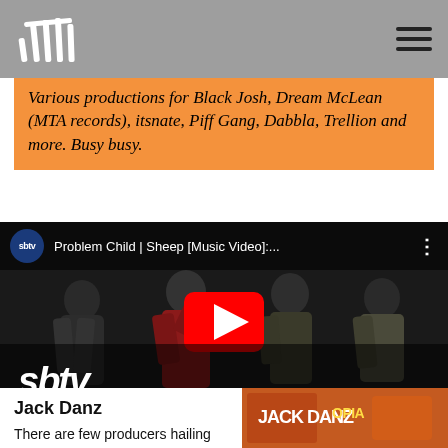UKHH logo and navigation
Various productions for Black Josh, Dream McLean (MTA records), itsnate, Piff Gang, Dabbla, Trellion and more. Busy busy.
[Figure (screenshot): YouTube video thumbnail for SBTV: Problem Child | Sheep [Music Video]:... showing four performers on stage with a red YouTube play button overlay and SBTV logo]
Jack Danz
There are few producers hailing from West Yorkshire